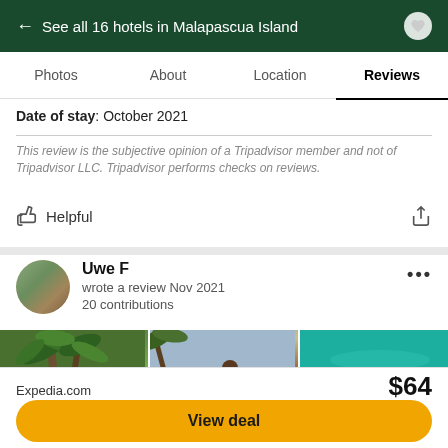← See all 16 hotels in Malapascua Island
Photos   About   Location   Reviews
Date of stay: October 2021
This review is the subjective opinion of a Tripadvisor member and not of Tripadvisor LLC. Tripadvisor performs checks on reviews.
Helpful
Uwe F
wrote a review Nov 2021
20 contributions
[Figure (photo): Three vacation photos showing tropical palm trees, a beach scene with a person, and turquoise water]
Expedia.com   $64
View deal